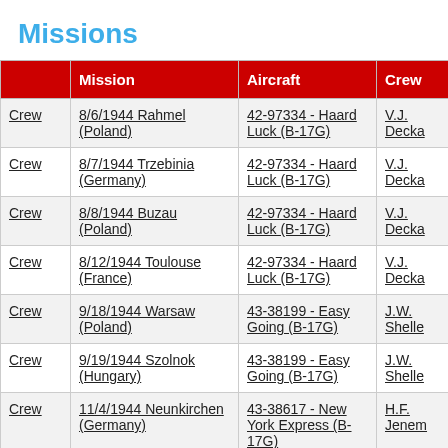Missions
|  | Mission | Aircraft | Crew |
| --- | --- | --- | --- |
| Crew | 8/6/1944 Rahmel (Poland) | 42-97334 - Haard Luck (B-17G) | V.J. Decka |
| Crew | 8/7/1944 Trzebinia (Germany) | 42-97334 - Haard Luck (B-17G) | V.J. Decka |
| Crew | 8/8/1944 Buzau (Poland) | 42-97334 - Haard Luck (B-17G) | V.J. Decka |
| Crew | 8/12/1944 Toulouse (France) | 42-97334 - Haard Luck (B-17G) | V.J. Decka |
| Crew | 9/18/1944 Warsaw (Poland) | 43-38199 - Easy Going (B-17G) | J.W. Shelle |
| Crew | 9/19/1944 Szolnok (Hungary) | 43-38199 - Easy Going (B-17G) | J.W. Shelle |
| Crew | 11/4/1944 Neunkirchen (Germany) | 43-38617 - New York Express (B-17G) | H.F. Jenem |